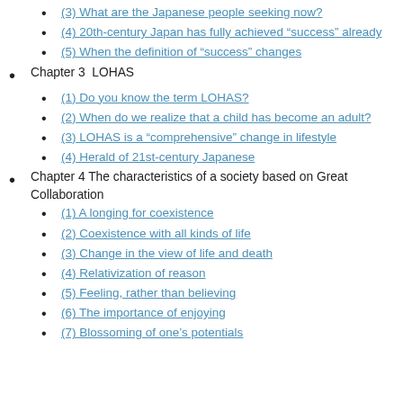(3) What are the Japanese people seeking now?
(4) 20th-century Japan has fully achieved “success” already
(5) When the definition of “success” changes
Chapter 3  LOHAS
(1) Do you know the term LOHAS?
(2) When do we realize that a child has become an adult?
(3) LOHAS is a “comprehensive” change in lifestyle
(4) Herald of 21st-century Japanese
Chapter 4 The characteristics of a society based on Great Collaboration
(1) A longing for coexistence
(2) Coexistence with all kinds of life
(3) Change in the view of life and death
(4) Relativization of reason
(5) Feeling, rather than believing
(6) The importance of enjoying
(7) Blossoming of one’s potentials